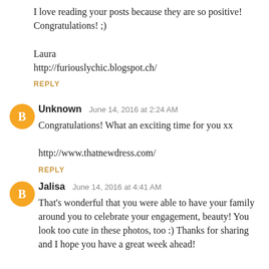I love reading your posts because they are so positive!
Congratulations! ;)

Laura
http://furiouslychic.blogspot.ch/
REPLY
Unknown  June 14, 2016 at 2:24 AM
Congratulations! What an exciting time for you xx

http://www.thatnewdress.com/
REPLY
Jalisa  June 14, 2016 at 4:41 AM
That's wonderful that you were able to have your family around you to celebrate your engagement, beauty! You look too cute in these photos, too :) Thanks for sharing and I hope you have a great week ahead!